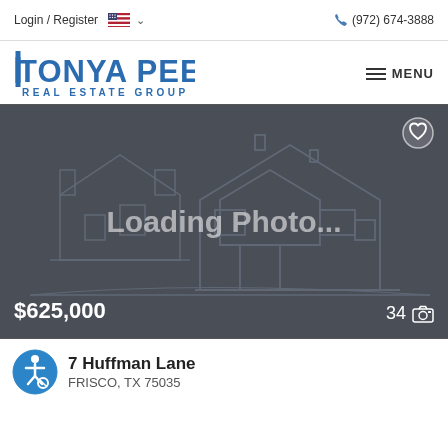Login / Register  🇺🇸 ∨     (972) 674-3888
TONYA PEEK REAL ESTATE GROUP
[Figure (screenshot): Real estate listing card showing a loading placeholder with a wireframe house illustration, 'Loading Photo...' text, price $625,000, and photo count 34]
7 Huffman Lane
FRISCO, TX 75035